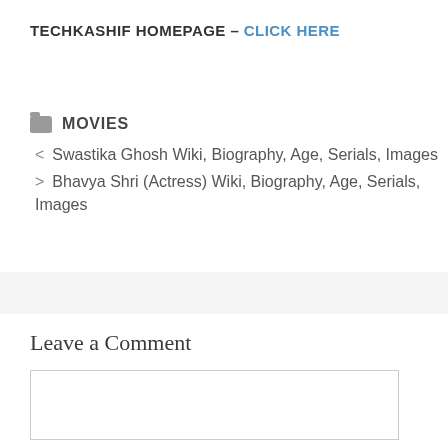TECHKASHIF HOMEPAGE – CLICK HERE
MOVIES
< Swastika Ghosh Wiki, Biography, Age, Serials, Images
> Bhavya Shri (Actress) Wiki, Biography, Age, Serials, Images
Leave a Comment